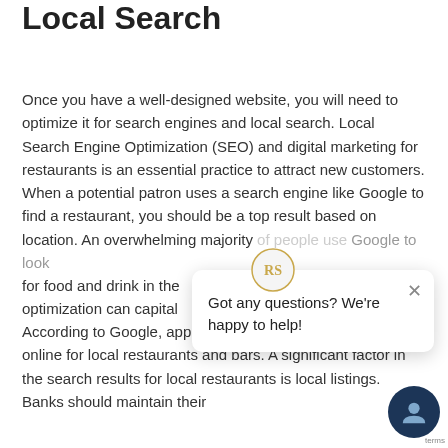Local Search
Once you have a well-designed website, you will need to optimize it for search engines and local search. Local Search Engine Optimization (SEO) and digital marketing for restaurants is an essential practice to attract new customers. When a potential patron uses a search engine like Google to find a restaurant, you should be a top result based on location. An overwhelming majority of people use Google to look for food and drink in the… optimization can capital…
According to Google, approximately 80% of users search online for local restaurants and bars. A significant factor in the search results for local restaurants is local listings. Banks should maintain their…
[Figure (other): Chat widget popup with message 'Got any questions? We're happy to help!' with a close button (×) and a circular gold/dark logo icon at the top, plus a dark navy circular chat avatar button in the bottom right corner. A 'terms' label appears at the bottom right.]